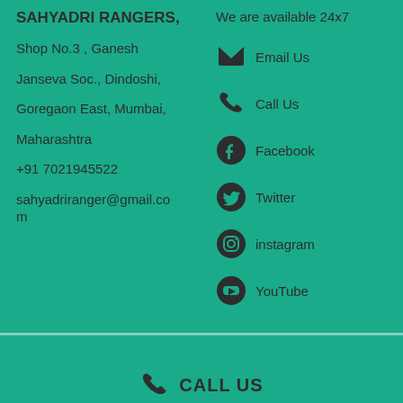SAHYADRI RANGERS,
Shop No.3 , Ganesh Janseva Soc., Dindoshi, Goregaon East, Mumbai, Maharashtra
+91 7021945522
sahyadriranger@gmail.com
We are available 24x7
Email Us
Call Us
Facebook
Twitter
instagram
YouTube
CALL US